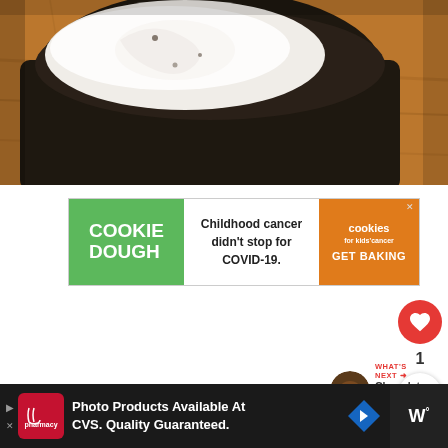[Figure (photo): Close-up photo of a dark chocolate mug cake or brownie cup filled with white cream/frosting on a wooden surface]
[Figure (infographic): Advertisement banner: COOKIE DOUGH brand ad. Left green section says COOKIE DOUGH, middle white section says Childhood cancer didn't stop for COVID-19., right orange section shows cookies for kids cancer logo and GET BAKING.]
[Figure (infographic): Red circular heart/like button showing a heart icon]
1
[Figure (infographic): White circular share button with share icon]
[Figure (infographic): WHAT'S NEXT arrow. Thumbnail of chocolate item. Text: Chocolate Protein Mug...]
[Figure (infographic): Bottom advertisement banner on dark background. CVS Pharmacy logo. Text: Photo Products Available At CVS. Quality Guaranteed. Blue arrow navigation icon. Right side dark block with W degree symbol.]